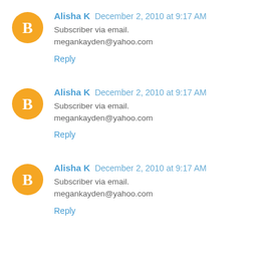Alisha K  December 2, 2010 at 9:17 AM
Subscriber via email.
megankayden@yahoo.com
Reply
Alisha K  December 2, 2010 at 9:17 AM
Subscriber via email.
megankayden@yahoo.com
Reply
Alisha K  December 2, 2010 at 9:17 AM
Subscriber via email.
megankayden@yahoo.com
Reply